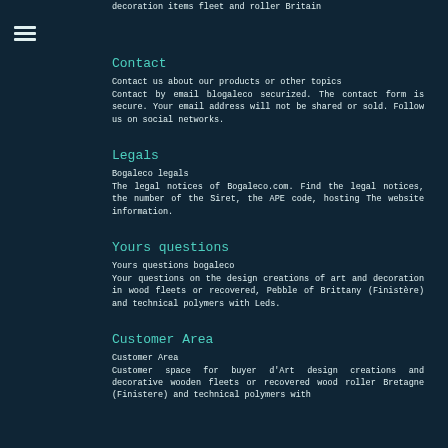decoration items fleet and roller Britain
Contact
Contact us about our products or other topics
Contact by email blogaleco securized. The contact form is secure. Your email address will not be shared or sold. Follow us on social networks.
Legals
Bogaleco legals
The legal notices of Bogaleco.com. Find the legal notices, the number of the Siret, the APE code, hosting The website information.
Yours questions
Yours questions bogaleco
Your questions on the design creations of art and decoration in wood fleets or recovered, Pebble of Brittany (Finistère) and technical polymers with Leds.
Customer Area
Customer Area
Customer space for buyer d'Art design creations and decorative wooden fleets or recovered wood roller Bretagne (Finistere) and technical polymers with